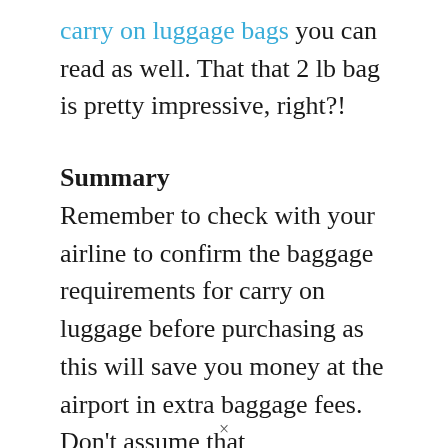carry on luggage bags you can read as well. That that 2 lb bag is pretty impressive, right?!
Summary
Remember to check with your airline to confirm the baggage requirements for carry on luggage before purchasing as this will save you money at the airport in extra baggage fees. Don't assume that
×